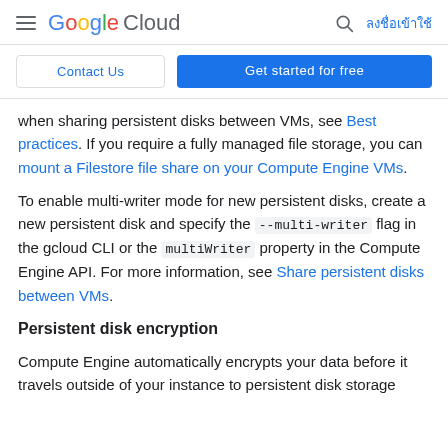Google Cloud — ลงชื่อเข้าใช้
Contact Us | Get started for free
when sharing persistent disks between VMs, see Best practices. If you require a fully managed file storage, you can mount a Filestore file share on your Compute Engine VMs.
To enable multi-writer mode for new persistent disks, create a new persistent disk and specify the --multi-writer flag in the gcloud CLI or the multiWriter property in the Compute Engine API. For more information, see Share persistent disks between VMs.
Persistent disk encryption
Compute Engine automatically encrypts your data before it travels outside of your instance to persistent disk storage